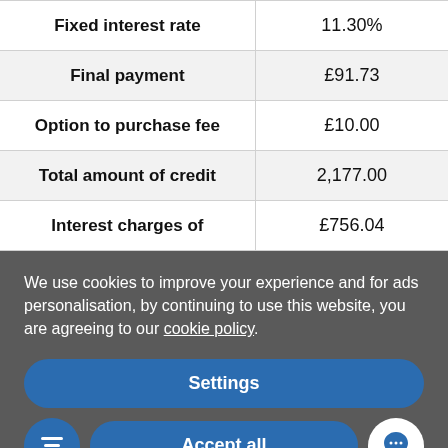|  |  |
| --- | --- |
| Fixed interest rate | 11.30% |
| Final payment | £91.73 |
| Option to purchase fee | £10.00 |
| Total amount of credit | 2,177.00 |
| Interest charges of | £756.04 |
We use cookies to improve your experience and for ads personalisation, by continuing to use this website, you are agreeing to our cookie policy.